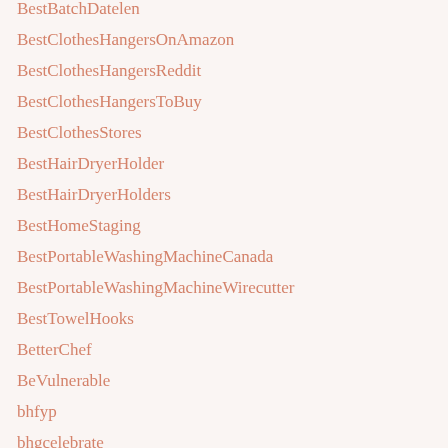BestBatchDatelen
BestClothesHangersOnAmazon
BestClothesHangersReddit
BestClothesHangersToBuy
BestClothesStores
BestHairDryerHolder
BestHairDryerHolders
BestHomeStaging
BestPortableWashingMachineCanada
BestPortableWashingMachineWirecutter
BestTowelHooks
BetterChef
BeVulnerable
bhfyp
bhgcelebrate